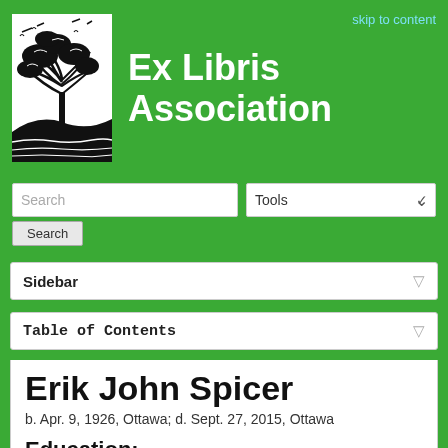Ex Libris Association
skip to content
Search
Tools
Sidebar
Table of Contents
Erik John Spicer
b. Apr. 9, 1926, Ottawa; d. Sept. 27, 2015, Ottawa
Education:
BA 1948 Victoria College, University of Toronto